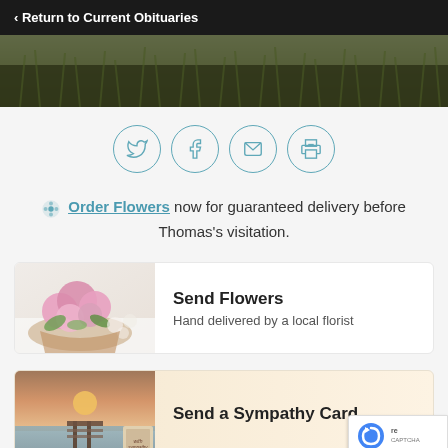Return to Current Obituaries
[Figure (photo): Dark green grass/foliage hero banner image]
[Figure (infographic): Four circular social sharing icons: Twitter, Facebook, Email, Print]
Order Flowers now for guaranteed delivery before Thomas's visitation.
[Figure (photo): Send Flowers card with pink flowers image - Hand delivered by a local florist]
[Figure (photo): Send a Sympathy Card card with sunset dock image]